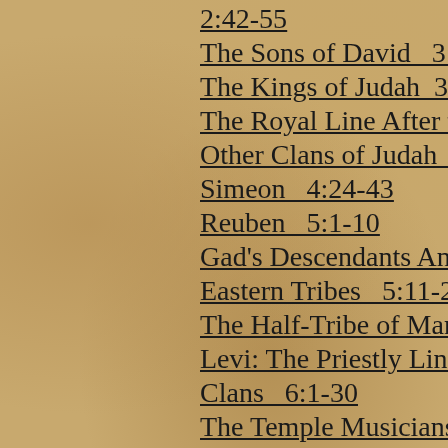2:42-55
The Sons of David   3:1
The Kings of Judah   3:
The Royal Line After th
Other Clans of Judah   4
Simeon   4:24-43
Reuben   5:1-10
Gad's Descendants And
Eastern Tribes   5:11-22
The Half-Tribe of Mana
Levi: The Priestly Line
Clans   6:1-30
The Temple Musicians